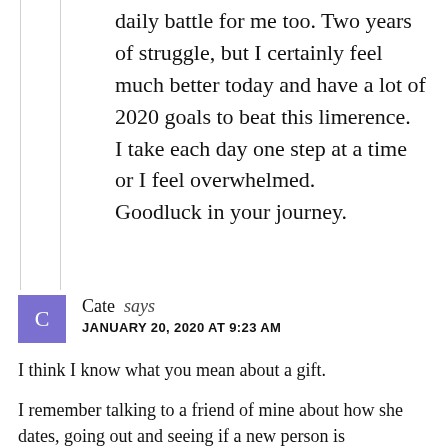daily battle for me too. Two years of struggle, but I certainly feel much better today and have a lot of 2020 goals to beat this limerence.
I take each day one step at a time or I feel overwhelmed.
Goodluck in your journey.
Cate says
JANUARY 20, 2020 AT 9:23 AM
I think I know what you mean about a gift.

I remember talking to a friend of mine about how she dates, going out and seeing if a new person is compatible, if they get on well, can hold a conversation, and so on. Falling in love was then a